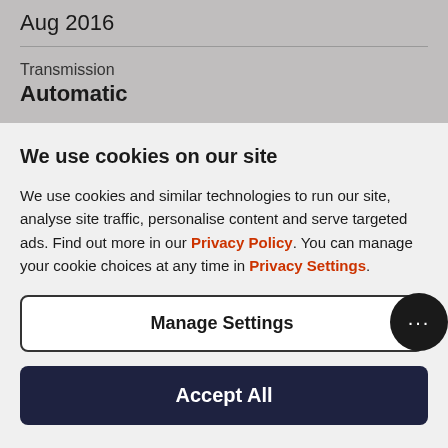Aug 2016
Transmission
Automatic
We use cookies on our site
We use cookies and similar technologies to run our site, analyse site traffic, personalise content and serve targeted ads. Find out more in our Privacy Policy. You can manage your cookie choices at any time in Privacy Settings.
Manage Settings
Accept All